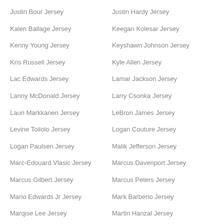Justin Bour Jersey
Justin Hardy Jersey
Kalen Ballage Jersey
Keegan Kolesar Jersey
Kenny Young Jersey
Keyshawn Johnson Jersey
Kris Russell Jersey
Kyle Allen Jersey
Lac Edwards Jersey
Lamar Jackson Jersey
Lanny McDonald Jersey
Larry Csonka Jersey
Lauri Markkanen Jersey
LeBron James Jersey
Levine Toilolo Jersey
Logan Couture Jersey
Logan Paulsen Jersey
Malik Jefferson Jersey
Marc-Edouard Vlasic Jersey
Marcus Davenport Jersey
Marcus Gilbert Jersey
Marcus Peters Jersey
Mario Edwards Jr Jersey
Mark Barberio Jersey
Marqise Lee Jersey
Martin Hanzal Jersey
Matt Martin Jersey
Matt Nieto Jersey